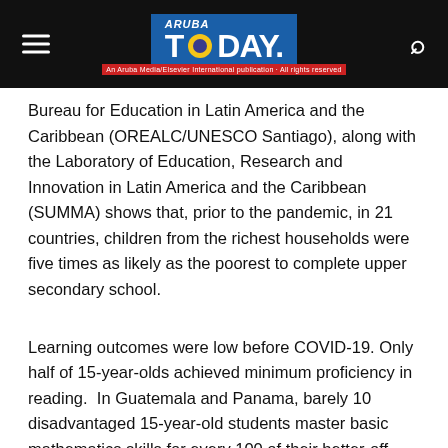Aruba Today
Bureau for Education in Latin America and the Caribbean (OREALC/UNESCO Santiago), along with the Laboratory of Education, Research and Innovation in Latin America and the Caribbean (SUMMA) shows that, prior to the pandemic, in 21 countries, children from the richest households were five times as likely as the poorest to complete upper secondary school.
Learning outcomes were low before COVID-19. Only half of 15-year-olds achieved minimum proficiency in reading.  In Guatemala and Panama, barely 10 disadvantaged 15-year-old students master basic mathematics skills for every 100 of their better-off peers. Indigenous people and Afro-